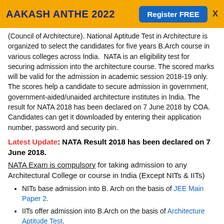AAKASH ANTHE 2022  Register FREE  X
(Council of Architecture). National Aptitude Test in Architecture is organized to select the candidates for five years B.Arch course in various colleges across India. NATA is an eligibility test for securing admission into the architecture course. The scored marks will be valid for the admission in academic session 2018-19 only. The scores help a candidate to secure admission in government, government-aided/unaided architecture institutes in India. The result for NATA 2018 has been declared on 7 June 2018 by COA. Candidates can get it downloaded by entering their application number, password and security pin.
Latest Update: NATA Result 2018 has been declared on 7 June 2018.
NATA Exam is compulsory for taking admission to any Architectural College or course in India (Except NITs & IITs)
NITs base admission into B. Arch on the basis of JEE Main Paper 2.
IITs offer admission into B.Arch on the basis of Architecture Aptitude Test.
NATA measures the drawing and observation skills, sense of proportion, aesthetic sensitivity and critical thinking ability related to Architecture. There is no common NATA Counselling and students have to apply to individual architecture colleges on the basis of NATA Score Card. There are around 387 architecture colleges that accept NATA score for admission into B.Arch.